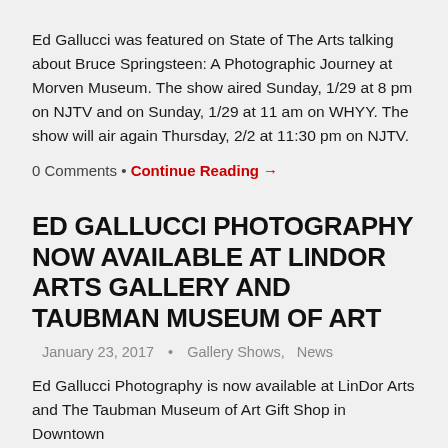Ed Gallucci was featured on State of The Arts talking about Bruce Springsteen: A Photographic Journey at Morven Museum. The show aired Sunday, 1/29 at 8 pm on NJTV and on Sunday, 1/29 at 11 am on WHYY. The show will air again Thursday, 2/2 at 11:30 pm on NJTV.
0 Comments • Continue Reading →
ED GALLUCCI PHOTOGRAPHY NOW AVAILABLE AT LINDOR ARTS GALLERY AND TAUBMAN MUSEUM OF ART
January 23, 2017  •  Gallery Shows,  News
Ed Gallucci Photography is now available at LinDor Arts and The Taubman Museum of Art Gift Shop in Downtown